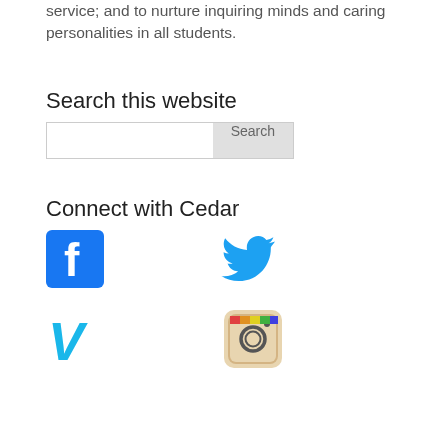service; and to nurture inquiring minds and caring personalities in all students.
Search this website
[Figure (screenshot): Search input box with a text field and a Search button]
Connect with Cedar
[Figure (infographic): Social media icons: Facebook, Twitter, Vimeo, Instagram]